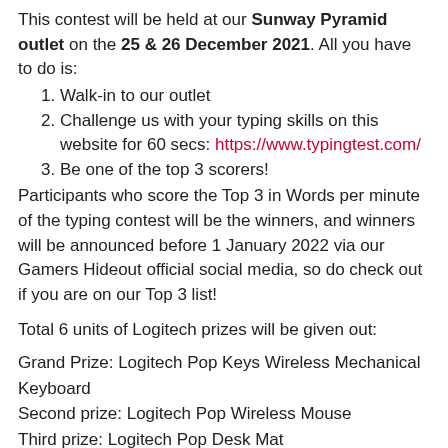This contest will be held at our Sunway Pyramid outlet on the 25 & 26 December 2021. All you have to do is:
Walk-in to our outlet
Challenge us with your typing skills on this website for 60 secs: https://www.typingtest.com/
Be one of the top 3 scorers!
Participants who score the Top 3 in Words per minute of the typing contest will be the winners, and winners will be announced before 1 January 2022 via our Gamers Hideout official social media, so do check out if you are on our Top 3 list!
Total 6 units of Logitech prizes will be given out:
Grand Prize: Logitech Pop Keys Wireless Mechanical Keyboard
Second prize: Logitech Pop Wireless Mouse
Third prize: Logitech Pop Desk Mat